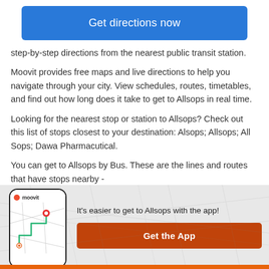Get directions now
step-by-step directions from the nearest public transit station.
Moovit provides free maps and live directions to help you navigate through your city. View schedules, routes, timetables, and find out how long does it take to get to Allsops in real time.
Looking for the nearest stop or station to Allsops? Check out this list of stops closest to your destination: Alsops; Allsops; All Sops; Dawa Pharmacutical.
You can get to Allsops by Bus. These are the lines and routes that have stops nearby -
[Figure (screenshot): Moovit app phone mockup with logo and map route illustration]
It's easier to get to Allsops with the app!
Get the App